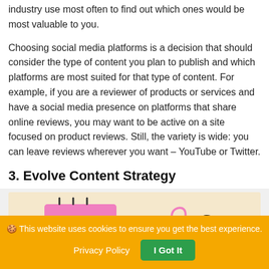industry use most often to find out which ones would be most valuable to you.
Choosing social media platforms is a decision that should consider the type of content you plan to publish and which platforms are most suited for that type of content. For example, if you are a reviewer of products or services and have a social media presence on platforms that share online reviews, you may want to be active on a site focused on product reviews. Still, the variety is wide: you can leave reviews wherever you want – YouTube or Twitter.
3. Evolve Content Strategy
[Figure (illustration): Illustration showing a person at a desk with a pink notepad/calendar, a thumbs-up icon, and decorative elements on a warm beige background, related to content strategy.]
🍪 This website uses cookies to ensure you get the best experience.
Privacy Policy   I Got It